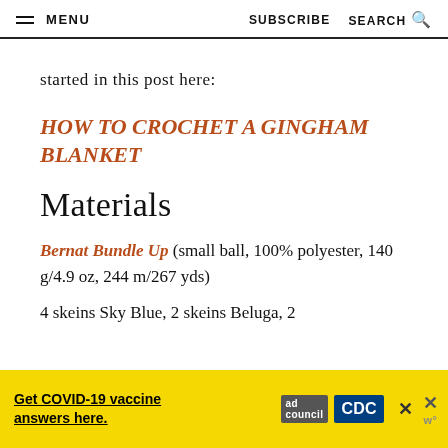MENU   SUBSCRIBE   SEARCH
started in this post here:
HOW TO CROCHET A GINGHAM BLANKET
Materials
Bernat Bundle Up (small ball, 100% polyester, 140 g/4.9 oz, 244 m/267 yds)
4 skeins Sky Blue, 2 skeins Beluga, 2
[Figure (screenshot): Yellow advertisement banner for COVID-19 vaccine information from CDC Ad Council]